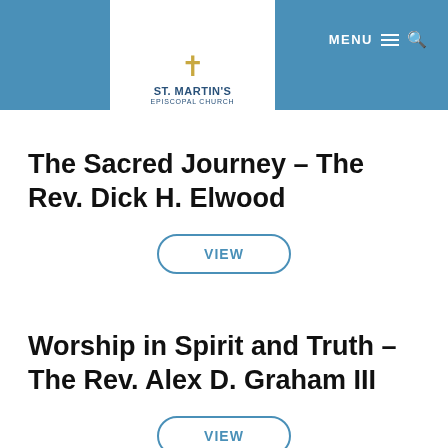[Figure (logo): St. Martin's Episcopal Church logo with cross and church name on white pennant-shaped background over blue header bar]
MENU
The Sacred Journey – The Rev. Dick H. Elwood
VIEW
Worship in Spirit and Truth – The Rev. Alex D. Graham III
VIEW